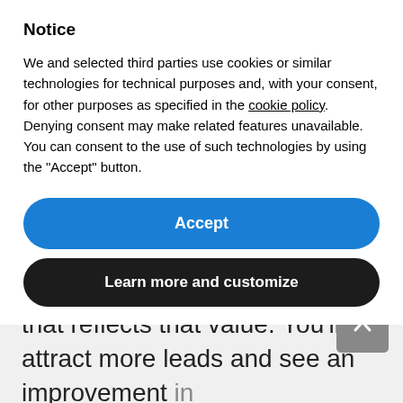Notice
We and selected third parties use cookies or similar technologies for technical purposes and, with your consent, for other purposes as specified in the cookie policy. Denying consent may make related features unavailable.
You can consent to the use of such technologies by using the “Accept” button.
Accept
Learn more and customize
that reflects that value. You’ll attract more leads and see an improvement in your work-life balance over time.
If this blog post has got you thinking, join